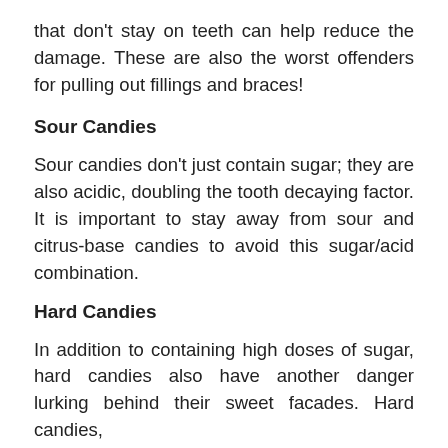that don't stay on teeth can help reduce the damage. These are also the worst offenders for pulling out fillings and braces!
Sour Candies
Sour candies don't just contain sugar; they are also acidic, doubling the tooth decaying factor. It is important to stay away from sour and citrus-base candies to avoid this sugar/acid combination.
Hard Candies
In addition to containing high doses of sugar, hard candies also have another danger lurking behind their sweet facades. Hard candies,